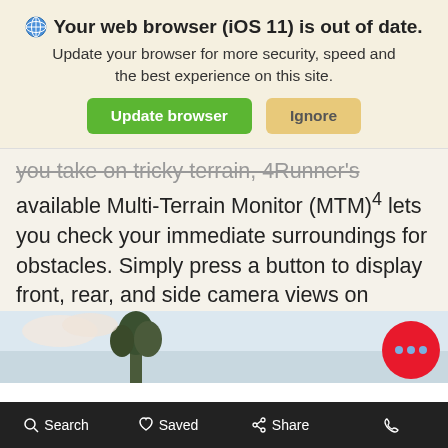[Figure (screenshot): Browser update notification banner with globe icon, bold title 'Your web browser (iOS 11) is out of date.', subtitle text, and two buttons: 'Update browser' (green) and 'Ignore' (tan/yellow)]
you take on tricky terrain, 4Runner's available Multi-Terrain Monitor (MTM)4 lets you check your immediate surroundings for obstacles. Simply press a button to display front, rear, and side camera views on 4Runner's 8-in display.
[Figure (photo): Partial landscape photo showing trees and sky at bottom of page]
Search   Saved   Share   (phone)